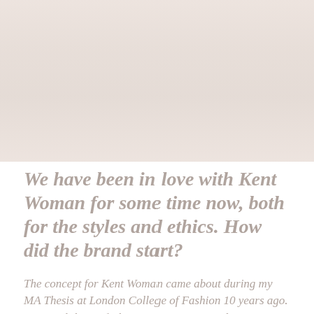[Figure (photo): A faded/washed-out fashion photo showing figures wearing lingerie or sleepwear, very light pinkish-beige tones, nearly overexposed.]
We have been in love with Kent Woman for some time now, both for the styles and ethics. How did the brand start?
The concept for Kent Woman came about during my MA Thesis at London College of Fashion 10 years ago. Sustainability in fashion was rising up and I was particularly interested in how the underwear/sleepwear category could respond. When I moved to LA five years ago, discovered the incredible manufacturing industry here and wanted to bring the concept to life... Kent Woman was really founded at the intersection of three key tensions – 1) the absence of synthetic fabrics